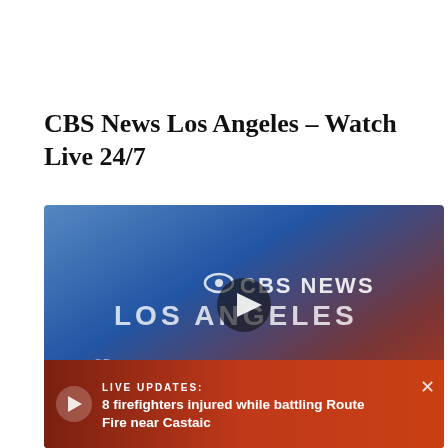CBS News Los Angeles – Watch Live 24/7
[Figure (screenshot): CBS News Los Angeles live stream video player showing blue-to-red gradient background with CBS News Los Angeles logo in white text and a play button overlay. A breaking news banner at the bottom reads 'LIVE UPDATES: 8 firefighters injured while battling Route Fire near Castaic' with a small play button on the left and a close (X) button on the right.]